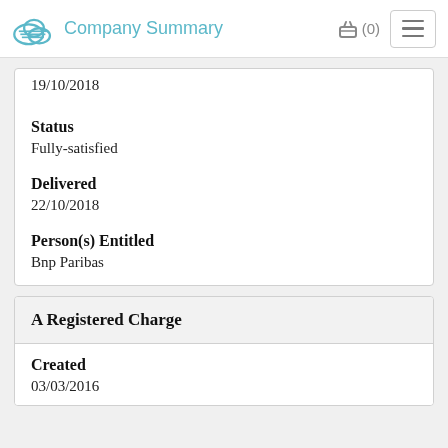Company Summary
19/10/2018
Status
Fully-satisfied
Delivered
22/10/2018
Person(s) Entitled
Bnp Paribas
A Registered Charge
Created
03/03/2016